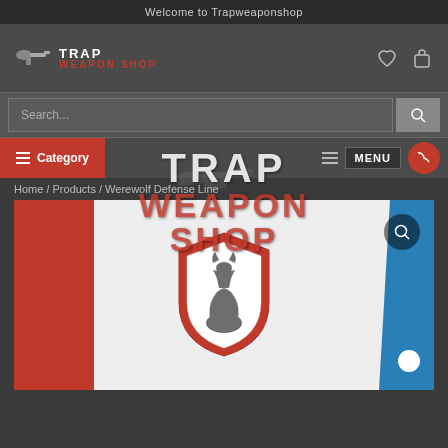Welcome to Trapweaponshop
[Figure (logo): Trap Weapon Shop logo with gun icon, white TRAP text and red WEAPON SHOP text]
[Figure (screenshot): Search bar with placeholder text 'Search...' and search button]
[Figure (screenshot): Navigation bar with Category button (red), hamburger menu lines, MENU button, and phone button]
Home / Products / Werewolf Defense Line
[Figure (photo): Product image showing a shield logo with a werewolf/wolf figure on a white background with red and blue diagonal panels. Watermark overlay of TRAP WEAPON SHOP logo. Magnifier icon in top right. White circle in bottom right.]